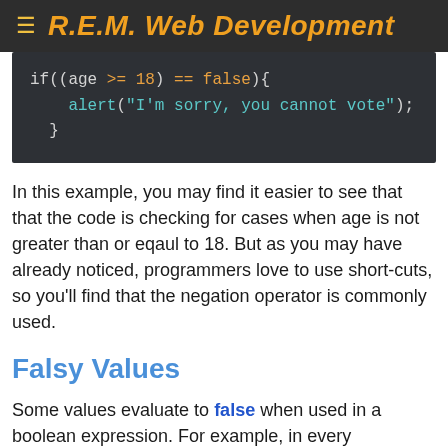R.E.M. Web Development
[Figure (screenshot): Code block showing JavaScript: if((age >= 18) == false){ alert("I'm sorry, you cannot vote"); }]
In this example, you may find it easier to see that that the code is checking for cases when age is not greater than or eqaul to 18. But as you may have already noticed, programmers love to use short-cuts, so you'll find that the negation operator is commonly used.
Falsy Values
Some values evaluate to false when used in a boolean expression. For example, in every programming language that I know of, 0 is considered to be equal to false.